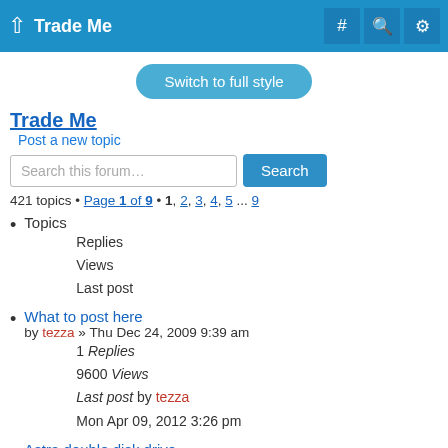Trade Me
Switch to full style
Trade Me
Post a new topic
Search this forum… Search
421 topics • Page 1 of 9 • 1, 2, 3, 4, 5 ... 9
Topics
Replies
Views
Last post
What to post here
by tezza » Thu Dec 24, 2009 9:39 am
1 Replies
9600 Views
Last post by tezza
Mon Apr 09, 2012 3:26 pm
Astra double disk drive
by acsi » Sun May 13, 2018 2:40 pm
0 Replies
11298 Views
Last post by acsi
Sun May 13, 2018 2:40 pm